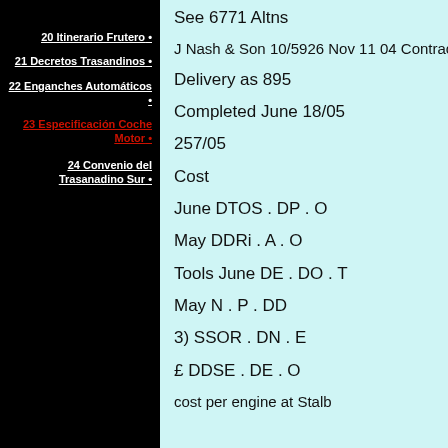20 Itinerario Frutero •
21 Decretos Trasandinos •
22 Enganches Automáticos •
23 Especificación Coche Motor •
24 Convenio del Trasanadino Sur •
See 6771 Altns
J Nash & Son 10/5926 Nov 11 04 Contract D
Delivery as 895
Completed June 18/05
257/05
Cost
June DTOS . DP . O
May DDRi . A . O
Tools June DE . DO . T
May N . P . DD
3) SSOR . DN . E
£ DDSE . DE . O
cost per engine at Stalb